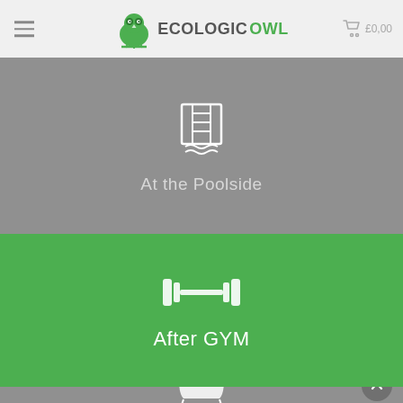[Figure (logo): EcologicOwl website header with hamburger menu, green owl logo, ECOLOGICOWL text, and shopping cart showing £0,00]
[Figure (illustration): Grey section with pool/ladder icon and text 'At the Poolside']
[Figure (illustration): Green section with dumbbell/gym icon and text 'After GYM']
[Figure (illustration): Grey section with bathtub icon, partially visible, with scroll-up button]